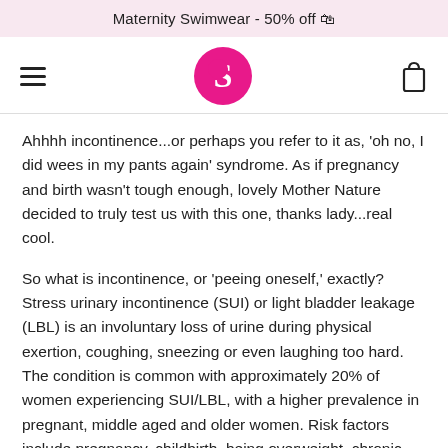Maternity Swimwear - 50% off 🛍
[Figure (logo): Navigation bar with hamburger menu, circular pink logo with white S, and shopping bag icon]
Ahhhh incontinence...or perhaps you refer to it as, 'oh no, I did wees in my pants again' syndrome. As if pregnancy and birth wasn't tough enough, lovely Mother Nature decided to truly test us with this one, thanks lady...real cool.
So what is incontinence, or 'peeing oneself,' exactly? Stress urinary incontinence (SUI) or light bladder leakage (LBL) is an involuntary loss of urine during physical exertion, coughing, sneezing or even laughing too hard. The condition is common with approximately 20% of women experiencing SUI/LBL, with a higher prevalence in pregnant, middle aged and older women. Risk factors include pregnancy, childbirth, being overweight, chronic coughing or nerve injuries to the lower back. Birth is very